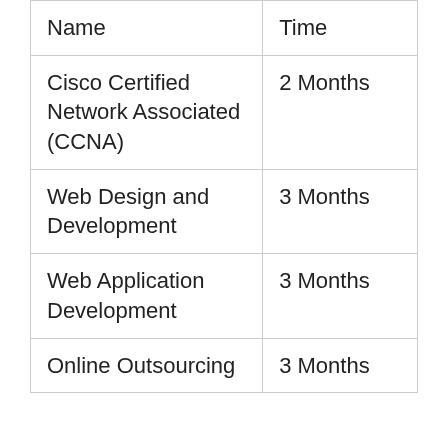| Name | Time |
| --- | --- |
| Cisco Certified Network Associated (CCNA) | 2 Months |
| Web Design and Development | 3 Months |
| Web Application Development | 3 Months |
| Online Outsourcing | 3 Months |